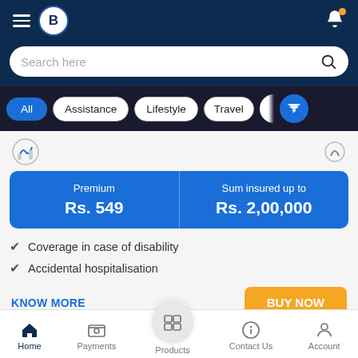[Figure (screenshot): Mobile app top navigation bar with hamburger menu, logo B in circle, and notification bell with orange dot]
[Figure (screenshot): Search bar with placeholder text 'Search here' and search icon]
[Figure (screenshot): Filter tabs: All (active/blue), Assistance, Lifestyle, Travel, partially visible tab, and filter funnel button]
[Figure (screenshot): Insurance product card icons strip at top]
| Premium | Sum insured up to |
| --- | --- |
| Rs. 549 | Rs. 2,00,000 |
Coverage in case of disability
Accidental hospitalisation
KNOW MORE
BUY NOW
[Figure (screenshot): Bottom navigation bar with Home, Payments, Products (active circle), Contact Us, Account]